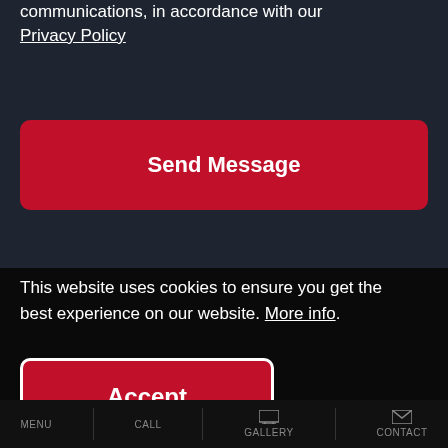communications, in accordance with our Privacy Policy
[Figure (screenshot): Red 'Send Message' button]
This website uses cookies to ensure you get the best experience on our website. More info.
[Figure (screenshot): Red 'Accept' button with white border]
MENU | CALL | GALLERY | CONTACT